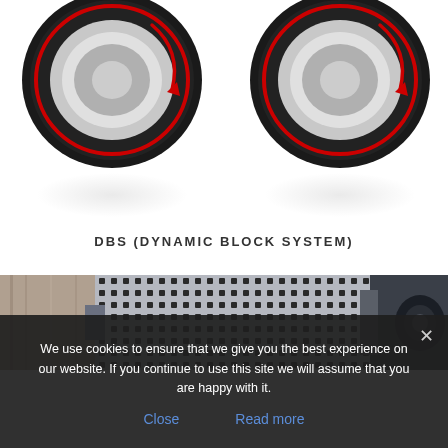[Figure (photo): Two black/silver mechanical wheels or rollers with red directional arrows shown on a white background with subtle reflections beneath each wheel.]
DBS (DYNAMIC BLOCK SYSTEM)
[Figure (photo): Close-up photograph of industrial machinery showing a grey metal panel with a diamond-pattern mesh/grille, alongside wooden and metallic surfaces.]
We use cookies to ensure that we give you the best experience on our website. If you continue to use this site we will assume that you are happy with it.
Close
Read more